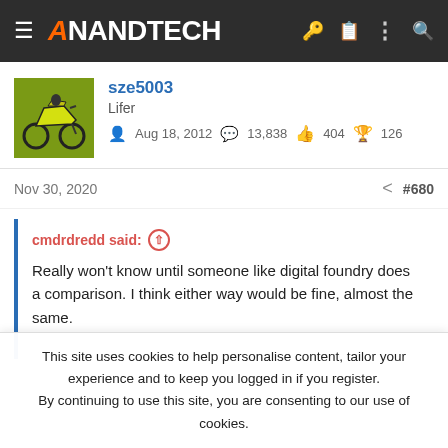AnandTech
sze5003
Lifer
Aug 18, 2012  13,838  404  126
Nov 30, 2020   #680
cmdrdredd said: ↑

Really won't know until someone like digital foundry does a comparison. I think either way would be fine, almost the same.
This site uses cookies to help personalise content, tailor your experience and to keep you logged in if you register.
By continuing to use this site, you are consenting to our use of cookies.